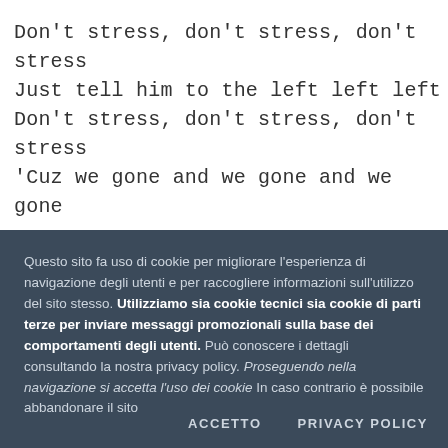Don't stress, don't stress, don't stress
Just tell him to the left left left
Don't stress, don't stress, don't stress
'Cuz we gone and we gone and we gone
No stress, no stress, no stress
Girl you deserve nothing but the best
No stress, no stress, no stress
C...
Questo sito fa uso di cookie per migliorare l'esperienza di navigazione degli utenti e per raccogliere informazioni sull'utilizzo del sito stesso. Utilizziamo sia cookie tecnici sia cookie di parti terze per inviare messaggi promozionali sulla base dei comportamenti degli utenti. Può conoscere i dettagli consultando la nostra privacy policy. Proseguendo nella navigazione si accetta l'uso dei cookie In caso contrario è possibile abbandonare il sito
ACCETTO    PRIVACY POLICY